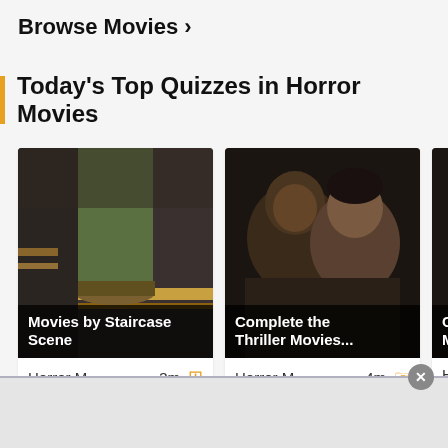Browse Movies ›
Today's Top Quizzes in Horror Movies
[Figure (screenshot): Card 1: Movie still showing feet on staircase with orange stripe. Title overlay: 'Movies by Staircase Scene'. Meta: Horror M... 3m]
[Figure (screenshot): Card 2: Movie still showing two people close together in dark setting. Title overlay: 'Complete the Thriller Movies...'. Meta: Horror M... 4m]
[Figure (screenshot): Card 3 (partially visible): Movie still showing close-up of man's face with tears. Title overlay: 'Complete the Horror Movies (2010s)'. Meta: Horror M... 5m]
Browse Horror Movies ›